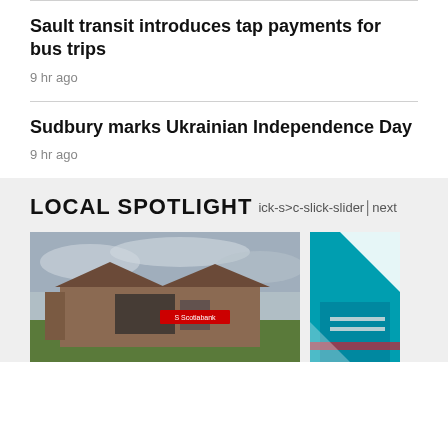Sault transit introduces tap payments for bus trips
9 hr ago
Sudbury marks Ukrainian Independence Day
9 hr ago
LOCAL SPOTLIGHT
c-slick-slider-next
[Figure (photo): Exterior photo of a Scotiabank branch building with a dark roof, brick walls, green lawn, and cloudy sky]
[Figure (photo): Partial photo of a teal/turquoise building exterior with white geometric elements]